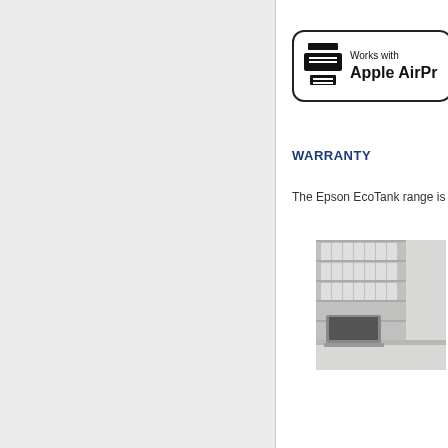[Figure (logo): Works with Apple AirPrint badge with printer icon]
WARRANTY
The Epson EcoTank range is bac
[Figure (photo): Office setting with binder shelves and a laptop or printer on a desk]